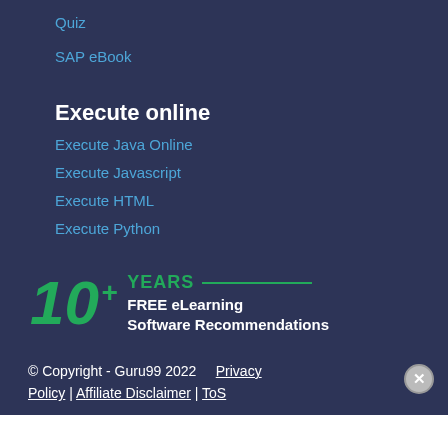Quiz
SAP eBook
Execute online
Execute Java Online
Execute Javascript
Execute HTML
Execute Python
[Figure (infographic): 10+ YEARS FREE eLearning Software Recommendations badge with green large numerals and horizontal line]
© Copyright - Guru99 2022   Privacy Policy | Affiliate Disclaimer | ToS